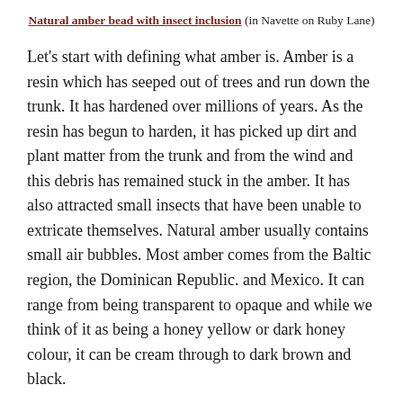Natural amber bead with insect inclusion (in Navette on Ruby Lane)
Let's start with defining what amber is. Amber is a resin which has seeped out of trees and run down the trunk. It has hardened over millions of years. As the resin has begun to harden, it has picked up dirt and plant matter from the trunk and from the wind and this debris has remained stuck in the amber. It has also attracted small insects that have been unable to extricate themselves. Natural amber usually contains small air bubbles. Most amber comes from the Baltic region, the Dominican Republic. and Mexico. It can range from being transparent to opaque and while we think of it as being a honey yellow or dark honey colour, it can be cream through to dark brown and black.